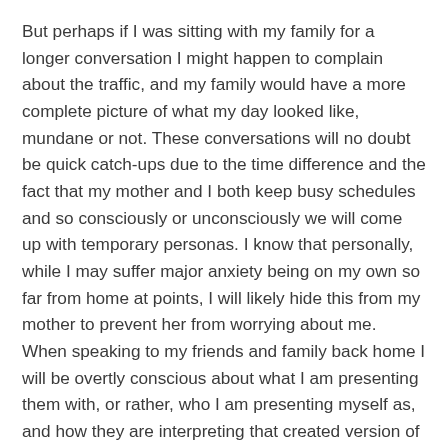But perhaps if I was sitting with my family for a longer conversation I might happen to complain about the traffic, and my family would have a more complete picture of what my day looked like, mundane or not. These conversations will no doubt be quick catch-ups due to the time difference and the fact that my mother and I both keep busy schedules and so consciously or unconsciously we will come up with temporary personas. I know that personally, while I may suffer major anxiety being on my own so far from home at points, I will likely hide this from my mother to prevent her from worrying about me. When speaking to my friends and family back home I will be overtly conscious about what I am presenting them with, or rather, who I am presenting myself as, and how they are interpreting that created version of myself.